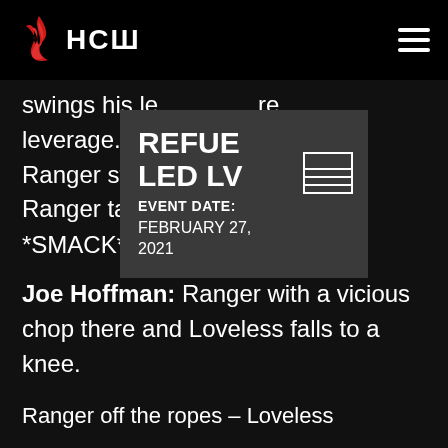HCW [logo] — navigation menu
swings his le ... re leverage. El ... Loveless – Ranger steps ... d to the gut- Ranger takes ... ck.
[Figure (infographic): Popup overlay card showing event info: REFUELED LV, EVENT DATE: FEBRUARY 27, 2021]
*SMACK*
Joe Hoffman: Ranger with a vicious chop there and Loveless falls to a knee.
Ranger off the ropes – Loveless